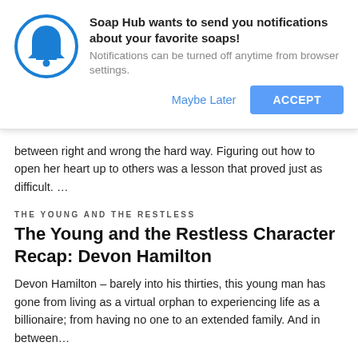[Figure (screenshot): Browser notification permission popup with blue bell icon, title 'Soap Hub wants to send you notifications about your favorite soaps!', subtitle 'Notifications can be turned off anytime from browser settings.', with 'Maybe Later' text link and blue 'ACCEPT' button]
between right and wrong the hard way. Figuring out how to open her heart up to others was a lesson that proved just as difficult. …
THE YOUNG AND THE RESTLESS
The Young and the Restless Character Recap: Devon Hamilton
Devon Hamilton – barely into his thirties, this young man has gone from living as a virtual orphan to experiencing life as a billionaire; from having no one to an extended family. And in between…
THE YOUNG AND THE RESTLESS
The Young and the Restless Character Recap: Tessa